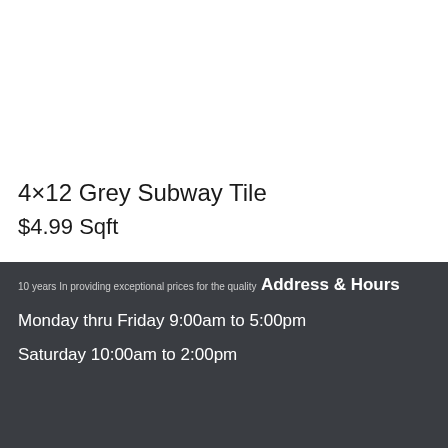4×12 Grey Subway Tile
$4.99 Sqft
10 years In providing exceptional prices for the quality
Address & Hours
Monday thru Friday 9:00am to 5:00pm
Saturday 10:00am to 2:00pm